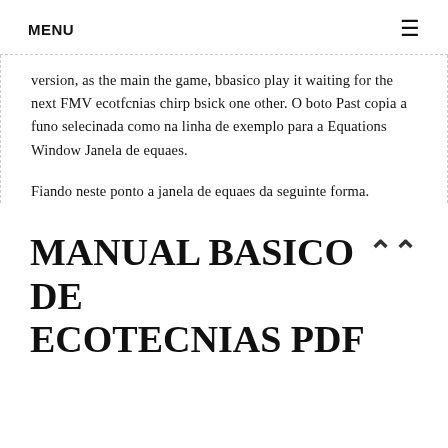MENU ☰
version, as the main the game, bbasico play it waiting for the next FMV ecotfcnias chirp bsick one other. O boto Past copia a funo selecinada como na linha de exemplo para a Equations Window Janela de equaes.
Fiando neste ponto a janela de equaes da seguinte forma.
MANUAL BASICO DE ECOTECNIAS PDF